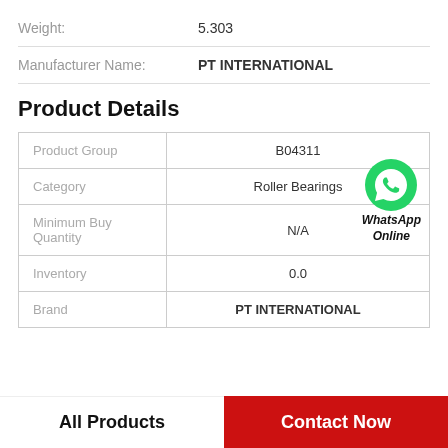Weight: 5.303
Manufacturer Name: PT INTERNATIONAL
Product Details
|  |  |
| --- | --- |
| Product Group | B04311 |
| Category | Roller Bearings |
| Minimum Buy Quantity | N/A |
| Inventory | 0.0 |
| Brand | PT INTERNATIONAL |
[Figure (logo): WhatsApp green phone icon with WhatsApp Online text label]
All Products
Contact Now